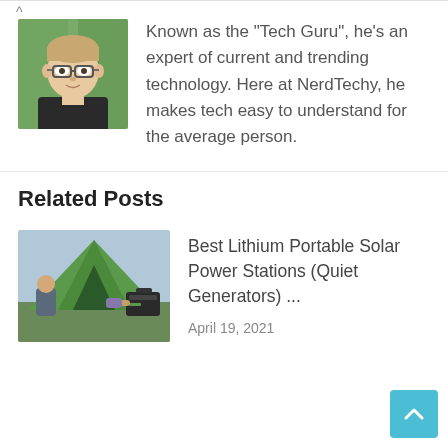[Figure (photo): Headshot of young man with glasses and light hair, wearing dark shirt, green foliage background]
Known as the "Tech Guru", he's an expert of current and trending technology. Here at NerdTechy, he makes tech easy to understand for the average person.
Related Posts
[Figure (photo): Person next to a green camping tent holding a portable solar power station, outdoor camping scene]
Best Lithium Portable Solar Power Stations (Quiet Generators) ...
April 19, 2021